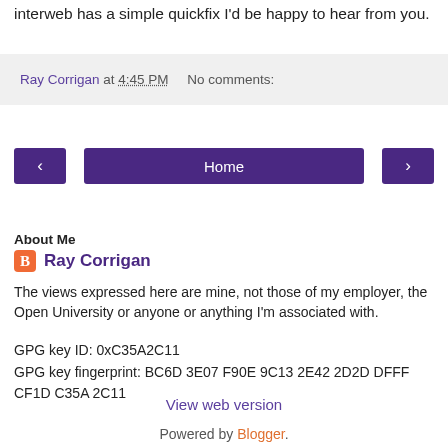interweb has a simple quickfix I'd be happy to hear from you.
Ray Corrigan at 4:45 PM   No comments:
‹   Home   ›
View web version
About Me
Ray Corrigan
The views expressed here are mine, not those of my employer, the Open University or anyone or anything I'm associated with.
GPG key ID: 0xC35A2C11
GPG key fingerprint: BC6D 3E07 F90E 9C13 2E42 2D2D DFFF CF1D C35A 2C11
View my complete profile
Powered by Blogger.